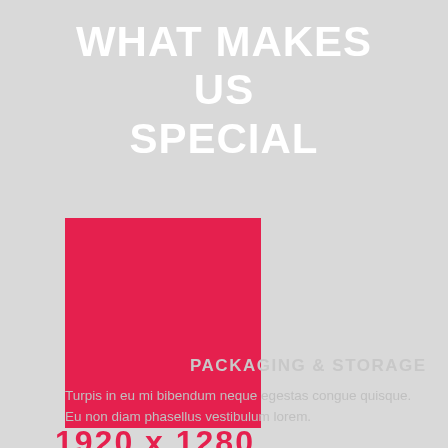WHAT MAKES US SPECIAL
[Figure (illustration): Pink/crimson rectangle shape used as a decorative graphic element]
PACKAGING & STORAGE
Turpis in eu mi bibendum neque egestas congue quisque. Eu non diam phasellus vestibulum lorem.
1920 x 1280